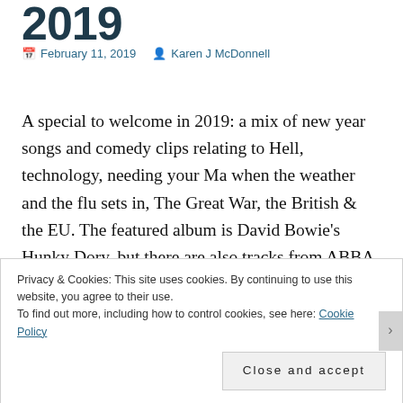2019
February 11, 2019   Karen J McDonnell
A special to welcome in 2019: a mix of new year songs and comedy clips relating to Hell, technology, needing your Ma when the weather and the flu sets in, The Great War, the British & the EU. The featured album is David Bowie's Hunky Dory, but there are also tracks from ABBA, Cat Stevens, Ella Fitzgerald, Dan Fogelburg, U2, & Taylor
Privacy & Cookies: This site uses cookies. By continuing to use this website, you agree to their use.
To find out more, including how to control cookies, see here: Cookie Policy
Close and accept